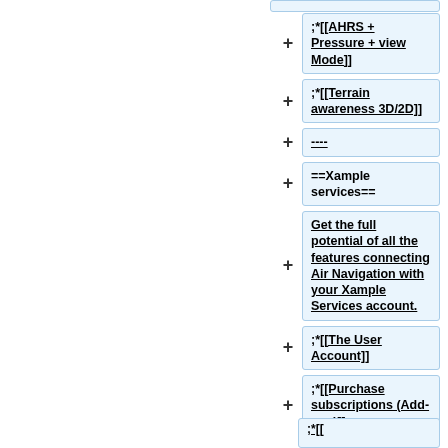;*[[AHRS + Pressure + view Mode]]
;*[[Terrain awareness 3D/2D]]
----
==Xample services==
Get the full potential of all the features connecting Air Navigation with your Xample Services account.
;*[[The User Account]]
;*[[Purchase subscriptions (Add-ons)]]